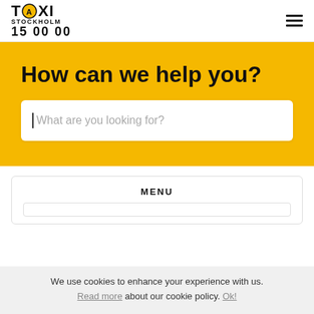Taxi Stockholm 150000
How can we help you?
What are you looking for?
MENU
We use cookies to enhance your experience with us. Read more about our cookie policy. Ok!